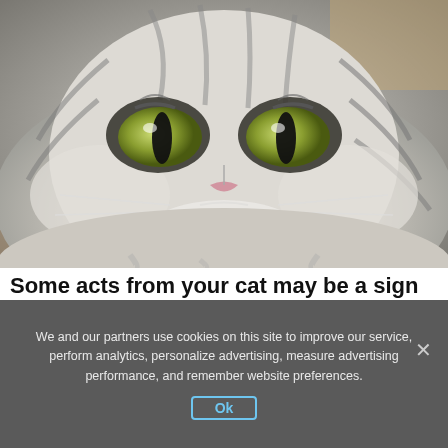[Figure (photo): Close-up photo of a grumpy-looking silver tabby cat with green eyes, flat face, dark stripes on white/grey fur, looking directly at camera with a stern expression.]
Some acts from your cat may be a sign for alarm. Get to know it now
We and our partners use cookies on this site to improve our service, perform analytics, personalize advertising, measure advertising performance, and remember website preferences.
Ok